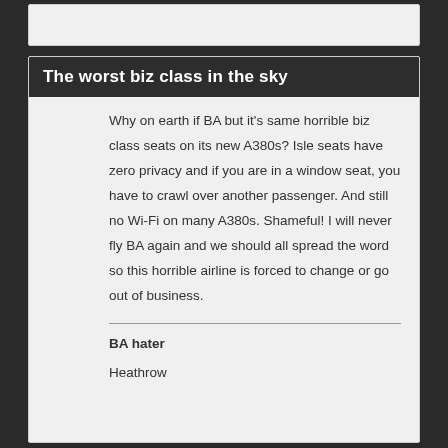The worst biz class in the sky
Why on earth if BA but it's same horrible biz class seats on its new A380s? Isle seats have zero privacy and if you are in a window seat, you have to crawl over another passenger. And still no Wi-Fi on many A380s. Shameful! I will never fly BA again and we should all spread the word so this horrible airline is forced to change or go out of business.
BA hater
Heathrow